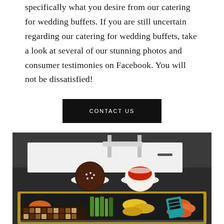specifically what you desire from our catering for wedding buffets. If you are still uncertain regarding our catering for wedding buffets, take a look at several of our stunning photos and consumer testimonies on Facebook. You will not be dissatisfied!
CONTACT US
[Figure (photo): Photo of a catering buffet table showing desserts including chocolate cake and berry cheesecake, a decorative gold-framed tray with assorted sweets, dried fruits, chocolates, and green garnish.]